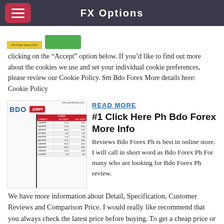FX Options
[Figure (screenshot): Small screenshot thumbnails showing BDO and a green button]
clicking on the “Accept” option below. If you’d like to find out more about the cookies we use and set your individual cookie preferences, please review our Cookie Policy. Sm Bdo Forex More details here: Cookie Policy
[Figure (screenshot): BDO and BPI forex rate table screenshot]
READ MORE
#1 Click Here Ph Bdo Forex More Info
Reviews Bdo Forex Ph is best in online store. I will call in short word as Bdo Forex Ph For many who are looking for Bdo Forex Ph review. We have more information about Detail, Specification, Customer Reviews and Comparison Price. I would really like recommend that you always check the latest price before buying. To get a cheap price or great deal.